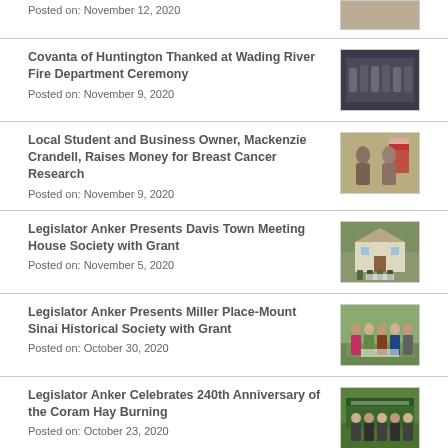Posted on: November 12, 2020
[Figure (photo): Partial photo visible at top right]
Covanta of Huntington Thanked at Wading River Fire Department Ceremony
Posted on: November 9, 2020
[Figure (photo): Group photo at fire department ceremony]
Local Student and Business Owner, Mackenzie Crandell, Raises Money for Breast Cancer Research
Posted on: November 9, 2020
[Figure (photo): Two people with American flag in background]
Legislator Anker Presents Davis Town Meeting House Society with Grant
Posted on: November 5, 2020
[Figure (photo): Historic house with people holding sign]
Legislator Anker Presents Miller Place-Mount Sinai Historical Society with Grant
Posted on: October 30, 2020
[Figure (photo): Group of people outdoors]
Legislator Anker Celebrates 240th Anniversary of the Coram Hay Burning
Posted on: October 23, 2020
[Figure (photo): Group photo at outdoor event with green banner]